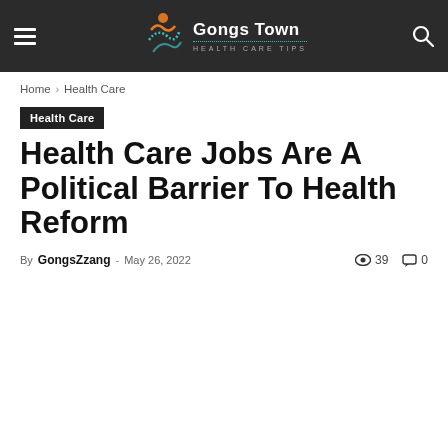Gongs Town HEALTH CARE TIPS
Home › Health Care
Health Care
Health Care Jobs Are A Political Barrier To Health Reform
By GongsZzang - May 26, 2022   39   0